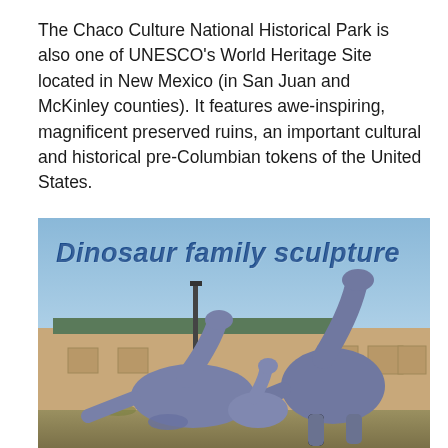The Chaco Culture National Historical Park is also one of UNESCO's World Heritage Site located in New Mexico (in San Juan and McKinley counties). It features awe-inspiring, magnificent preserved ruins, an important cultural and historical pre-Columbian tokens of the United States.
[Figure (photo): Photograph of dinosaur family sculpture — three large blue-grey dinosaur statues (brachiosaurus-type) in front of a building, with text overlay 'Dinosaur family sculpture' in bold dark blue italic font]